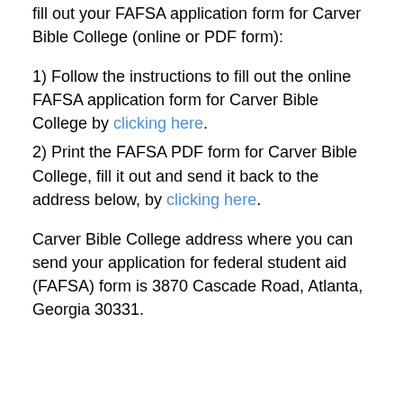fill out your FAFSA application form for Carver Bible College (online or PDF form):
1) Follow the instructions to fill out the online FAFSA application form for Carver Bible College by clicking here.
2) Print the FAFSA PDF form for Carver Bible College, fill it out and send it back to the address below, by clicking here.
Carver Bible College address where you can send your application for federal student aid (FAFSA) form is 3870 Cascade Road, Atlanta, Georgia 30331.